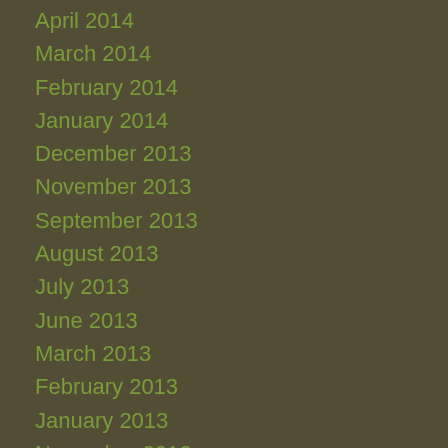April 2014
March 2014
February 2014
January 2014
December 2013
November 2013
September 2013
August 2013
July 2013
June 2013
March 2013
February 2013
January 2013
November 2012
October 2012
September 2012
August 2012